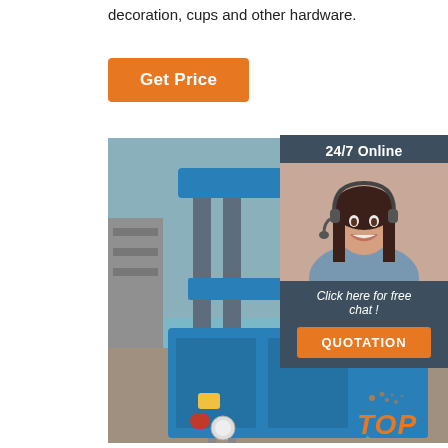decoration, cups and other hardware.
[Figure (other): Orange 'Get Price' button]
[Figure (photo): Blue industrial hydraulic press machine in a factory setting]
[Figure (infographic): Sidebar panel with '24/7 Online' heading, customer service representative photo, 'Click here for free chat!' text, and orange QUOTATION button]
[Figure (logo): Orange 'TOP' logo with dots in bottom right corner]